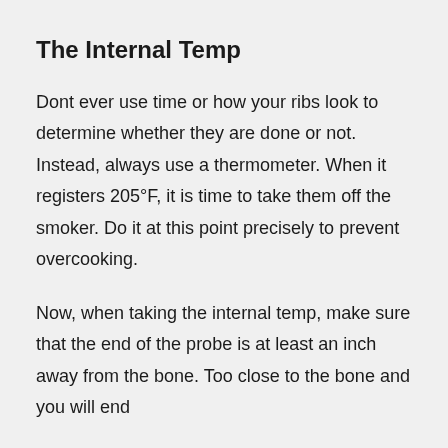The Internal Temp
Dont ever use time or how your ribs look to determine whether they are done or not. Instead, always use a thermometer. When it registers 205°F, it is time to take them off the smoker. Do it at this point precisely to prevent overcooking.
Now, when taking the internal temp, make sure that the end of the probe is at least an inch away from the bone. Too close to the bone and you will end